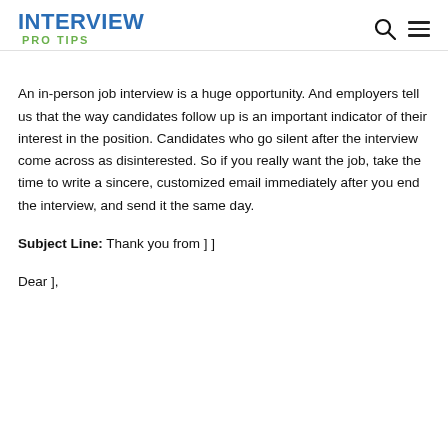INTERVIEW PRO TIPS
An in-person job interview is a huge opportunity. And employers tell us that the way candidates follow up is an important indicator of their interest in the position. Candidates who go silent after the interview come across as disinterested. So if you really want the job, take the time to write a sincere, customized email immediately after you end the interview, and send it the same day.
Subject Line: Thank you from ] ]
Dear ],